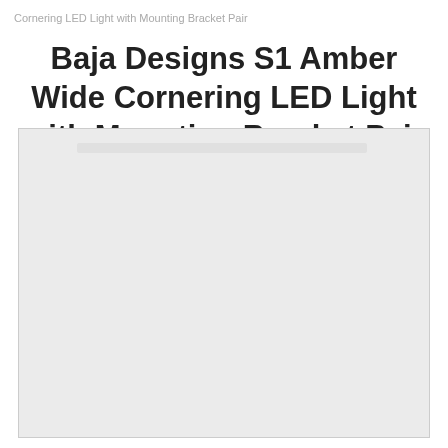Cornering LED Light with Mounting Bracket Pair
Baja Designs S1 Amber Wide Cornering LED Light with Mounting Bracket Pair
[Figure (photo): Product image placeholder area for the Baja Designs S1 Amber Wide Cornering LED Light with Mounting Bracket Pair, shown as a light gray rectangle with a lighter bar near the top.]